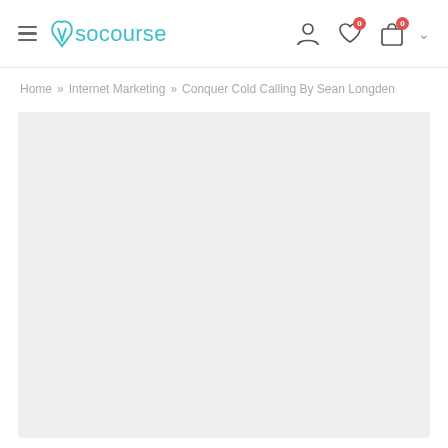wsocourse — navigation header with hamburger menu, logo, user icon, wishlist (0), cart (0)
Home » Internet Marketing » Conquer Cold Calling By Sean Longden
[Figure (screenshot): Large gray placeholder content area below the breadcrumb navigation]